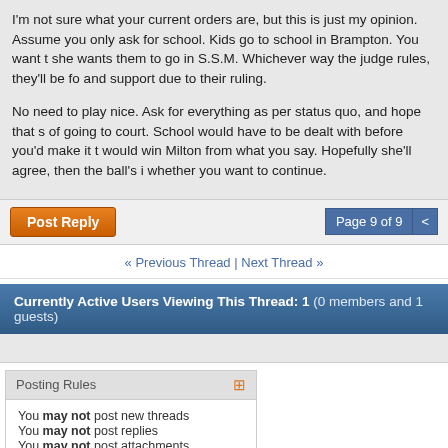I'm not sure what your current orders are, but this is just my opinion. Assume you only ask for school. Kids go to school in Brampton. You want she wants them to go in S.S.M. Whichever way the judge rules, they'll be fo and support due to their ruling.

No need to play nice. Ask for everything as per status quo, and hope that s of going to court. School would have to be dealt with before you'd make it t would win Milton from what you say. Hopefully she'll agree, then the ball's i whether you want to continue.
Post Reply
Page 9 of 9  <
« Previous Thread | Next Thread »
Currently Active Users Viewing This Thread: 1 (0 members and 1 guests)
Posting Rules
You may not post new threads
You may not post replies
You may not post attachments
You may not edit your posts
BB code is On
Smilies are On